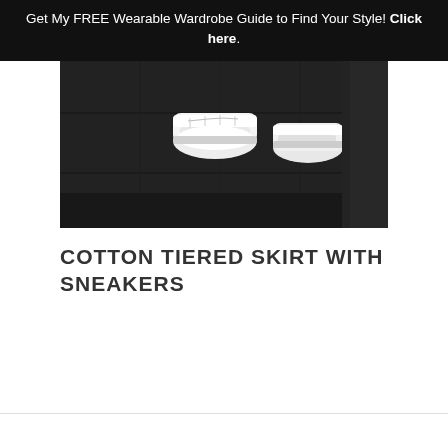Get My FREE Wearable Wardrobe Guide to Find Your Style! Click here.
[Figure (photo): Close-up photo of white sneakers on a dark hardwood floor, partial view of feet/legs]
COTTON TIERED SKIRT WITH SNEAKERS